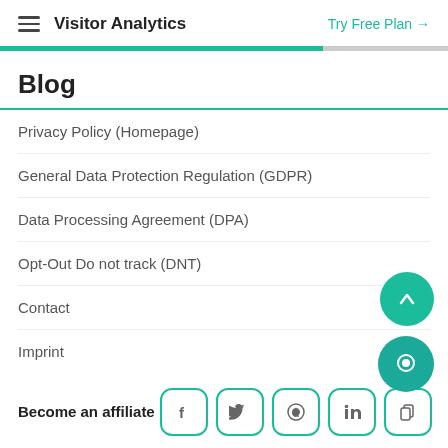Visitor Analytics  Try Free Plan →
Blog
Privacy Policy (Homepage)
General Data Protection Regulation (GDPR)
Data Processing Agreement (DPA)
Opt-Out Do not track (DNT)
Contact
Imprint
Become an affiliate
[Figure (other): Social sharing icons: Facebook, Twitter, WhatsApp, LinkedIn, and another sharing icon, each in a rounded square with teal border]